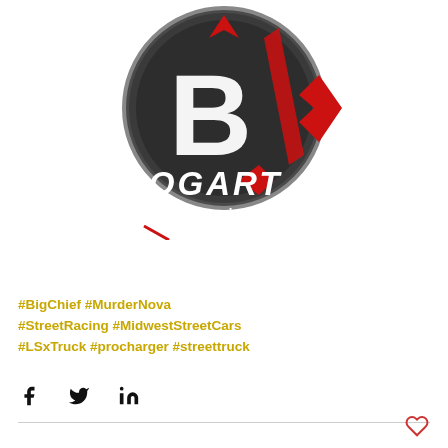[Figure (logo): Bogart Racing Wheels logo: circular dark grey emblem with large white B letter and red diamond/arrow accents, with 'BOGART Racing Wheels' text below in bold italic letters]
#BigChief #MurderNova #StreetRacing #MidwestStreetCars #LSxTruck #procharger #streettruck
[Figure (other): Social media share icons: Facebook f, Twitter bird, LinkedIn in]